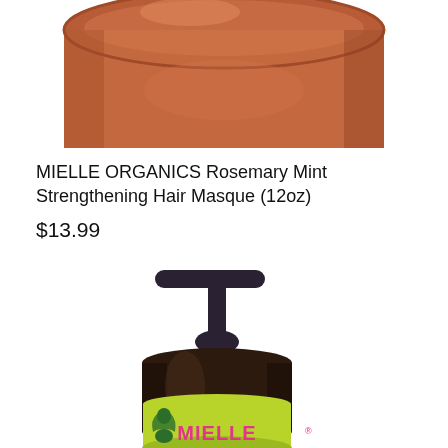[Figure (photo): Top portion of a brown/terracotta colored jar with lid, cropped at the top]
MIELLE ORGANICS Rosemary Mint Strengthening Hair Masque (12oz)
$13.99
[Figure (photo): Mielle Organics pump bottle with dark brown bottle body, black pump top, and bright yellow-green label with Mielle branding and logo]